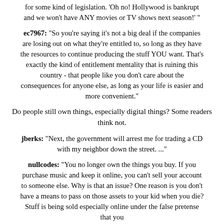for some kind of legislation. 'Oh no! Hollywood is bankrupt and we won't have ANY movies or TV shows next season!' "
ec7967: "So you're saying it's not a big deal if the companies are losing out on what they're entitled to, so long as they have the resources to continue producing the stuff YOU want. That's exactly the kind of entitlement mentality that is ruining this country - that people like you don't care about the consequences for anyone else, as long as your life is easier and more convenient."
Do people still own things, especially digital things? Some readers think not.
jberks: "Next, the government will arrest me for trading a CD with my neighbor down the street. ..."
nullcodes: "You no longer own the things you buy. If you purchase music and keep it online, you can't sell your account to someone else. Why is that an issue? One reason is you don't have a means to pass on those assets to your kid when you die? Stuff is being sold especially online under the false pretense that you